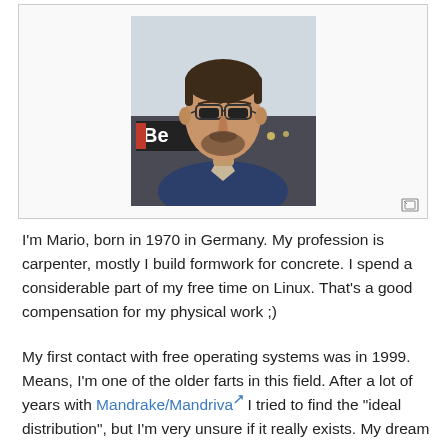[Figure (photo): Portrait photo of a middle-aged man with glasses, dark hair and beard, wearing a denim jacket, photographed outdoors with a store in the background]
I'm Mario, born in 1970 in Germany. My profession is carpenter, mostly I build formwork for concrete. I spend a considerable part of my free time on Linux. That's a good compensation for my physical work ;)
My first contact with free operating systems was in 1999. Means, I'm one of the older farts in this field. After a lot of years with Mandrake/Mandriva I tried to find the "ideal distribution", but I'm very unsure if it really exists. My dream